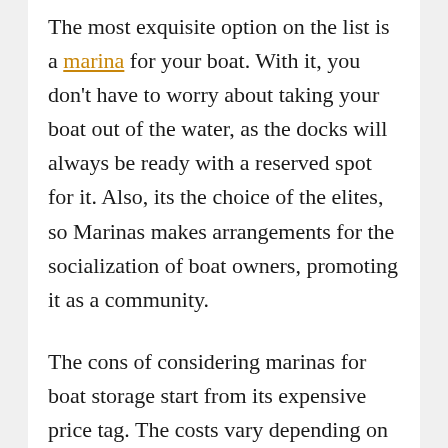The most exquisite option on the list is a marina for your boat. With it, you don't have to worry about taking your boat out of the water, as the docks will always be ready with a reserved spot for it. Also, its the choice of the elites, so Marinas makes arrangements for the socialization of boat owners, promoting it as a community.
The cons of considering marinas for boat storage start from its expensive price tag. The costs vary depending on the areas, crowd, popularity, and other such variables. There's also some risk of damage from the other boats that keep on coming and going. Security can also be an issue if you are not particular with your choice of the marina. And besides all this, you will also have to